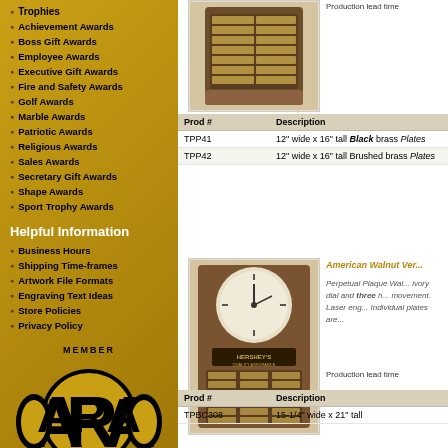Trophies
Achievement Awards
Boss Gift Awards
Employee Awards
Executive Gift Awards
Fire and Safety Awards
Golf Awards
Marble Awards
Patriotic Awards
Religious Awards
Sales Awards
Secretary Gift Awards
Shape Awards
Sport Trophy Awards
Helpful Information
Business Hours
Shipping Time-frames
Artwork File Formats
Engraving Text Ideas
Store Policies
Privacy Policy
[Figure (logo): ARA Member logo - Awards and Recognition Association]
We gladly accept
[Figure (illustration): Credit card logos: Discover, MasterCard, Visa, American Express]
[Figure (photo): Walnut perpetual plaque with brass plates]
Production lead time
| Prod # | Description |
| --- | --- |
| TPP41 | 12" wide x 16" tall Black brass Plates |
| TPP42 | 12" wide x 16" tall Brushed brass Plates |
[Figure (photo): American Walnut perpetual plaque with clock]
American Walnut Ver...
Perpetual Plaque Wal... ivory dial and three h... movement. Laser eng... Individual plates are...
Production lead time
| Prod # | Description |
| --- | --- |
| TPBC308 | 15-1/4" wide x 21" tall |